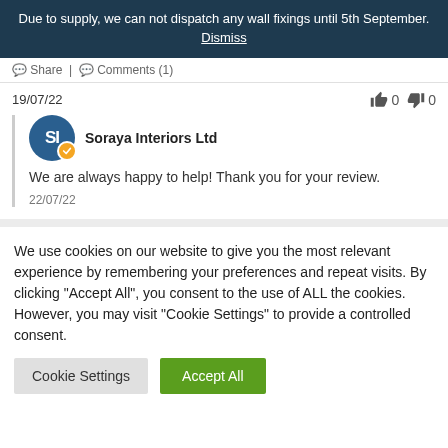Due to supply, we can not dispatch any wall fixings until 5th September. Dismiss
Share | Comments (1)
19/07/22
0  0
Soraya Interiors Ltd
We are always happy to help! Thank you for your review.
22/07/22
We use cookies on our website to give you the most relevant experience by remembering your preferences and repeat visits. By clicking "Accept All", you consent to the use of ALL the cookies. However, you may visit "Cookie Settings" to provide a controlled consent.
Cookie Settings
Accept All